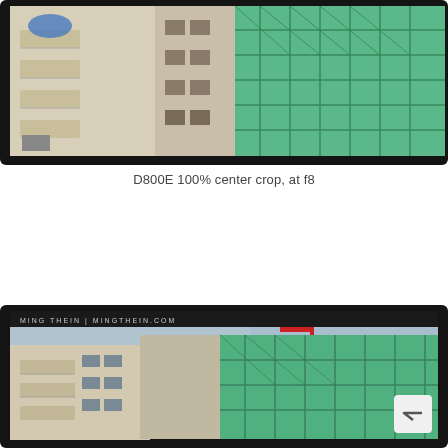[Figure (photo): D800E 100% center crop photo showing apartment building with balconies on the left and green scaffolding/construction netting on the right side of a building under construction. Black border frame. Photo is cropped at top.]
D800E 100% center crop, at f8
[Figure (photo): Second photo in a black frame with 'MING THEIN | MINGTHEIN.COM' watermark text at top. Shows same urban construction scene with apartment buildings and green scaffolding, plus a red crane visible in the upper right. A white back-to-top button with chevron arrow is overlaid in the lower right corner.]